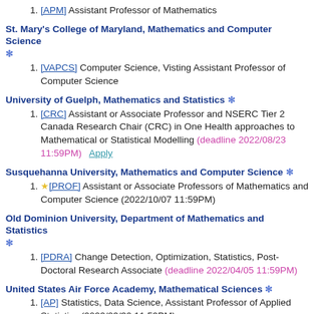[APM] Assistant Professor of Mathematics
St. Mary's College of Maryland, Mathematics and Computer Science ❄
[VAPCS] Computer Science, Visting Assistant Professor of Computer Science
University of Guelph, Mathematics and Statistics ❄
[CRC] Assistant or Associate Professor and NSERC Tier 2 Canada Research Chair (CRC) in One Health approaches to Mathematical or Statistical Modelling (deadline 2022/08/23 11:59PM)   Apply
Susquehanna University, Mathematics and Computer Science ❄
★[PROF] Assistant or Associate Professors of Mathematics and Computer Science (2022/10/07 11:59PM)
Old Dominion University, Department of Mathematics and Statistics ❄
[PDRA] Change Detection, Optimization, Statistics, Post-Doctoral Research Associate (deadline 2022/04/05 11:59PM)
United States Air Force Academy, Mathematical Sciences ❄
[AP] Statistics, Data Science, Assistant Professor of Applied Statistics (2022/09/30 11:59PM)
University of Delaware, Mathematical Sciences ❄